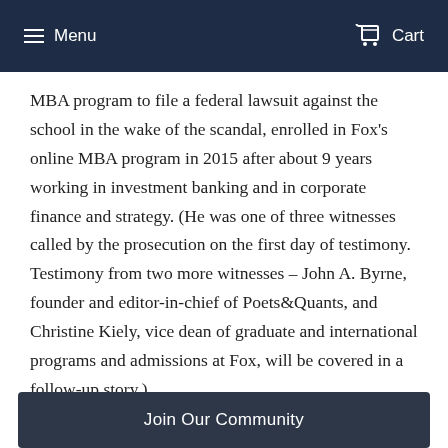Menu  Cart
MBA program to file a federal lawsuit against the school in the wake of the scandal, enrolled in Fox's online MBA program in 2015 after about 9 years working in investment banking and in corporate finance and strategy. (He was one of three witnesses called by the prosecution on the first day of testimony. Testimony from two more witnesses – John A. Byrne, founder and editor-in-chief of Poets&Quants, and Christine Kiely, vice dean of graduate and international programs and admissions at Fox, will be covered in a follow-up story.)
Fetahi felt he had reached the ceiling at his current job at SAP, a software company in Pittsburg, and thought an MBA would accelerate his career, he testified. He felt an online program better fit his lifestyle, but wanted a top-tier school
Join Our Community